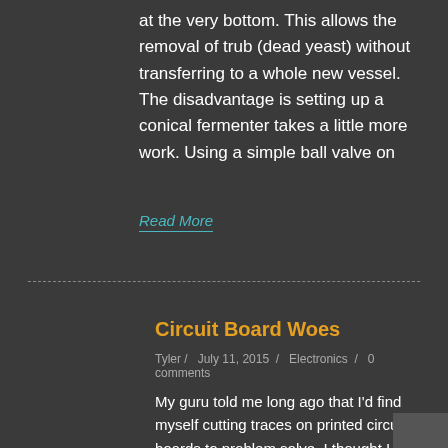at the very bottom. This allows the removal of trub (dead yeast) without transferring to a whole new vessel. The disadvantage is setting up a conical fermenter takes a little more work. Using a simple ball valve on
Read More
Circuit Board Woes
Tyler / July 11, 2015 / Electronics / 0 comments
My guru told me long ago that I'd find myself cutting traces on printed circuit boards to problem solve. I thought I